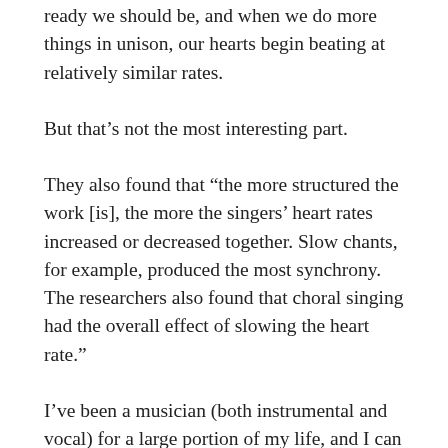ready we should be, and when we do more things in unison, our hearts begin beating at relatively similar rates.
But that’s not the most interesting part.
They also found that “the more structured the work [is], the more the singers’ heart rates increased or decreased together. Slow chants, for example, produced the most synchrony. The researchers also found that choral singing had the overall effect of slowing the heart rate.”
I’ve been a musician (both instrumental and vocal) for a large portion of my life, and I can tell you that I’ve experienced this phenomenon first hand. When everyone is locked in on the conductor, fully focused on making a performance as perfect as it can be,